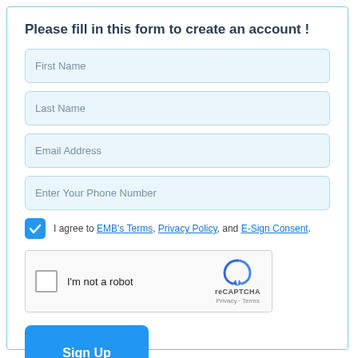Please fill in this form to create an account !
First Name
Last Name
Email Address
Enter Your Phone Number
I agree to EMB's Terms, Privacy Policy, and E-Sign Consent.
[Figure (other): reCAPTCHA widget with checkbox 'I'm not a robot', reCAPTCHA logo, Privacy and Terms links]
Sign Up